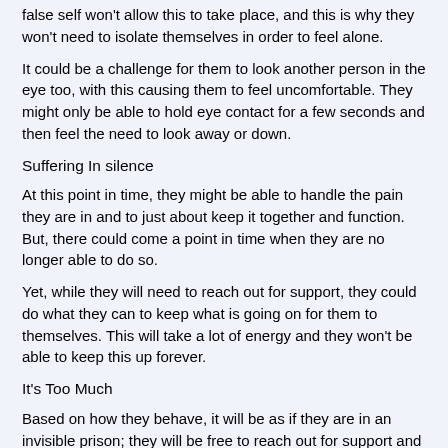false self won't allow this to take place, and this is why they won't need to isolate themselves in order to feel alone.
It could be a challenge for them to look another person in the eye too, with this causing them to feel uncomfortable. They might only be able to hold eye contact for a few seconds and then feel the need to look away or down.
Suffering In silence
At this point in time, they might be able to handle the pain they are in and to just about keep it together and function. But, there could come a point in time when they are no longer able to do so.
Yet, while they will need to reach out for support, they could do what they can to keep what is going on for them to themselves. This will take a lot of energy and they won't be able to keep this up forever.
It's Too Much
Based on how they behave, it will be as if they are in an invisible prison; they will be free to reach out for support and reveal what is going on for them but this won't be something that they will be able to accept. Deep down, they could believe that the only way that their life will change is if they were to end it.
If someone in their life was to become aware of this, they could be shocked by what is going on for them and wonder why they are this way. As far as they are concerned, there could be nothing wrong with them; they may not be able to understand how they can feel